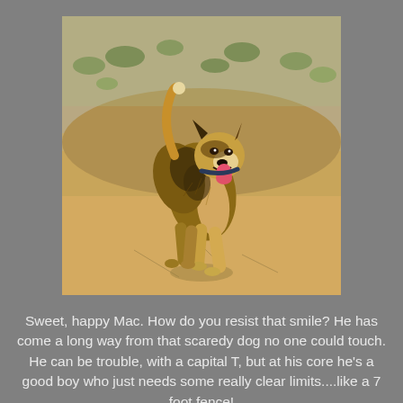[Figure (photo): A dog (Mac) running/walking on dry sandy ground outdoors with sparse vegetation and dirt terrain in the background. The dog has brown, tan and black fur with a husky/shepherd mix appearance, wearing a dark collar, mouth open with tongue out, tail raised, appearing happy.]
Sweet, happy Mac. How do you resist that smile? He has come a long way from that scaredy dog no one could touch. He can be trouble, with a capital T, but at his core he's a good boy who just needs some really clear limits....like a 7 foot fence!